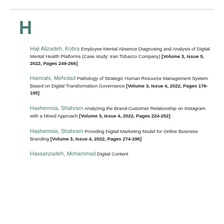H
Haji Alizadeh, Kobra Employee Mental Absence Diagnosing and Analysis of Digital Mental Health Platforms (Case study: Iran Tobacco Company) [Volume 3, Issue 5, 2022, Pages 249-266]
Hamrahi, Mehrdad Pathology of Strategic Human Resource Management System Based on Digital Transformation Governance [Volume 3, Issue 4, 2022, Pages 176-195]
Hashemnia, Shahram Analyzing the Brand-Customer Relationship on Instagram with a Mixed Approach [Volume 3, Issue 4, 2022, Pages 224-252]
Hashemnia, Shahram Providing Digital Marketing Model for Online Business Branding [Volume 3, Issue 4, 2022, Pages 274-296]
Hassanzadeh, Mohammad Digital Content